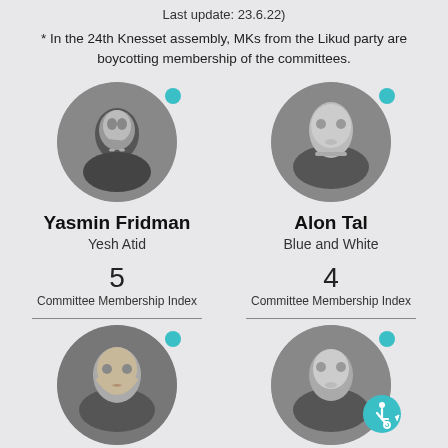Last update: 23.6.22)
* In the 24th Knesset assembly, MKs from the Likud party are boycotting membership of the committees.
[Figure (photo): Black and white circular portrait photo of Yasmin Fridman with teal dot indicator]
Yasmin Fridman
Yesh Atid
5
Committee Membership Index
[Figure (photo): Black and white circular portrait photo of Alon Tal with teal dot indicator]
Alon Tal
Blue and White
4
Committee Membership Index
[Figure (photo): Black and white circular portrait photo of a woman (bottom left) with teal dot indicator]
[Figure (photo): Black and white circular portrait photo of a woman (bottom right) with teal dot and wheelchair accessibility icon]